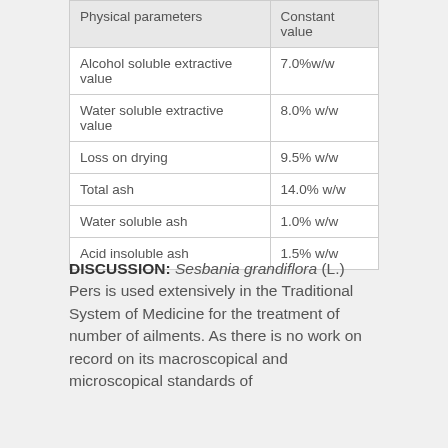| Physical parameters | Constant value |
| --- | --- |
| Alcohol soluble extractive value | 7.0%w/w |
| Water soluble extractive value | 8.0% w/w |
| Loss on drying | 9.5% w/w |
| Total ash | 14.0% w/w |
| Water soluble ash | 1.0% w/w |
| Acid insoluble ash | 1.5% w/w |
DISCUSSION: Sesbania grandiflora (L.) Pers is used extensively in the Traditional System of Medicine for the treatment of number of ailments. As there is no work on record on its macroscopical and microscopical standards of